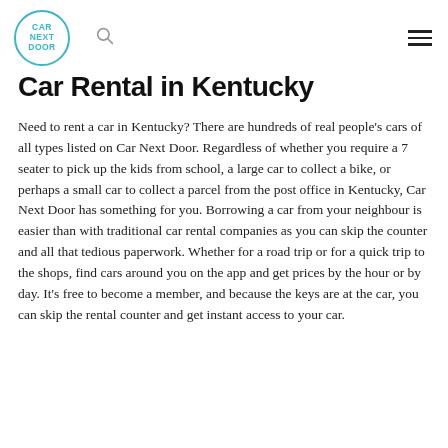CAR NEXT DOOR
Car Rental in Kentucky
Need to rent a car in Kentucky? There are hundreds of real people's cars of all types listed on Car Next Door. Regardless of whether you require a 7 seater to pick up the kids from school, a large car to collect a bike, or perhaps a small car to collect a parcel from the post office in Kentucky, Car Next Door has something for you. Borrowing a car from your neighbour is easier than with traditional car rental companies as you can skip the counter and all that tedious paperwork. Whether for a road trip or for a quick trip to the shops, find cars around you on the app and get prices by the hour or by day. It's free to become a member, and because the keys are at the car, you can skip the rental counter and get instant access to your car.